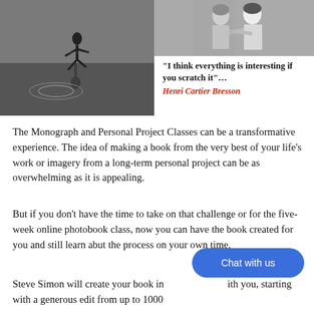[Figure (photo): Two black and white photographs: left shows a person running reflected in a puddle, right shows two people dancing or embracing]
“I think everything is interesting if you scratch it”… Henri Cartier Bresson
The Monograph and Personal Project Classes can be a transformative experience. The idea of making a book from the very best of your life's work or imagery from a long-term personal project can be as overwhelming as it is appealing.
But if you don't have the time to take on that challenge or for the five-week online photobook class, now you can have the book created for you and still learn abut the process on your own time.
Steve Simon will create your book in [Chat with us] with you, starting with a generous edit from up to 1000